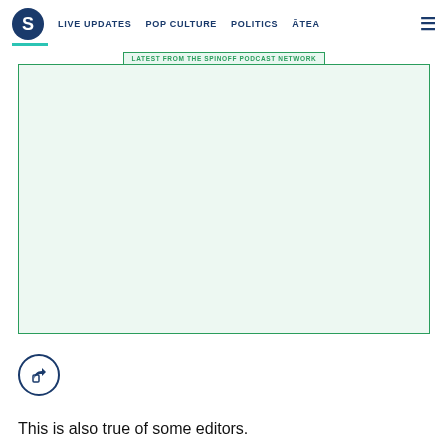S  LIVE UPDATES  POP CULTURE  POLITICS  ĀTEA
[Figure (other): Podcast network embed box with green border and label 'LATEST FROM THE SPINOFF PODCAST NETWORK', light green background, empty content area]
[Figure (other): Share/export icon button — circle with share arrow icon inside]
This is also true of some editors.